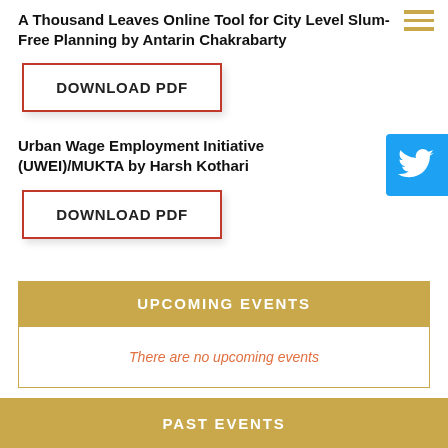A Thousand Leaves Online Tool for City Level Slum-Free Planning by Antarin Chakrabarty
[Figure (other): Hamburger menu icon (three horizontal gold lines)]
DOWNLOAD PDF
Urban Wage Employment Initiative (UWEI)/MUKTA by Harsh Kothari
DOWNLOAD PDF
[Figure (other): Twitter bird icon on blue background]
UPCOMING EVENTS
There are no upcoming events
PAST EVENTS